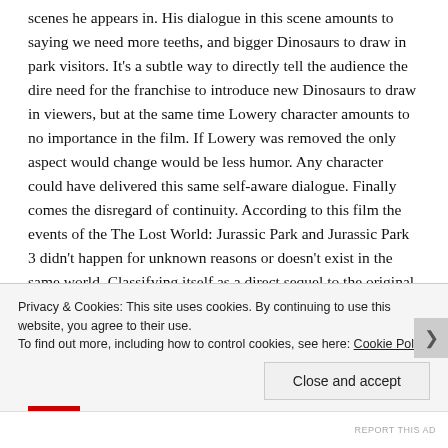scenes he appears in. His dialogue in this scene amounts to saying we need more teeths, and bigger Dinosaurs to draw in park visitors. It's a subtle way to directly tell the audience the dire need for the franchise to introduce new Dinosaurs to draw in viewers, but at the same time Lowery character amounts to no importance in the film. If Lowery was removed the only aspect would change would be less humor. Any character could have delivered this same self-aware dialogue. Finally comes the disregard of continuity. According to this film the events of the The Lost World: Jurassic Park and Jurassic Park 3 didn't happen for unknown reasons or doesn't exist in the same world. Classifying itself as a direct sequel to the original which is also troubling. Expecting you to believe you forget the Pteranodons that flew away from the island f... ...
Privacy & Cookies: This site uses cookies. By continuing to use this website, you agree to their use.
To find out more, including how to control cookies, see here: Cookie Policy
Close and accept
REPORT THIS AD